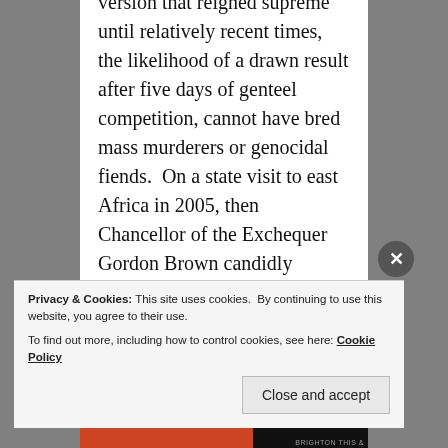version that reigned supreme until relatively recent times, the likelihood of a drawn result after five days of genteel competition, cannot have bred mass murderers or genocidal fiends.  On a state visit to east Africa in 2005, then Chancellor of the Exchequer Gordon Brown candidly declared: “I’ve talked to many people on my visit to Africa and the days of Britain having to apologise for its
Privacy & Cookies: This site uses cookies. By continuing to use this website, you agree to their use.
To find out more, including how to control cookies, see here: Cookie Policy
Close and accept